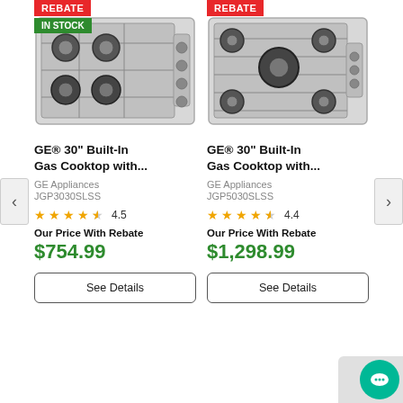[Figure (photo): GE 30-inch built-in gas cooktop with 4 burners, stainless steel, model JGP3030SLSS. REBATE badge in red top-left, IN STOCK badge in green below.]
[Figure (photo): GE 30-inch built-in gas cooktop with 5 burners, stainless steel, model JGP5030SLSS. REBATE badge in red top-left.]
GE® 30" Built-In Gas Cooktop with...
GE Appliances
JGP3030SLSS
4.5
Our Price With Rebate
$754.99
See Details
GE® 30" Built-In Gas Cooktop with...
GE Appliances
JGP5030SLSS
4.4
Our Price With Rebate
$1,298.99
See Details